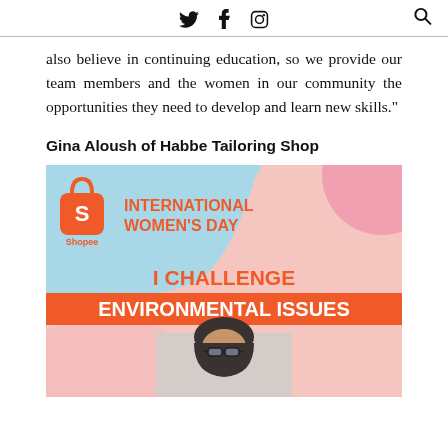Twitter Facebook Instagram Search
also believe in continuing education, so we provide our team members and the women in our community the opportunities they need to develop and learn new skills."
Gina Aloush of Habbe Tailoring Shop
[Figure (illustration): Shopee International Women's Day promotional banner with text 'I CHALLENGE ENVIRONMENTAL ISSUES' and a photo of a woman wearing a hijab and glasses.]